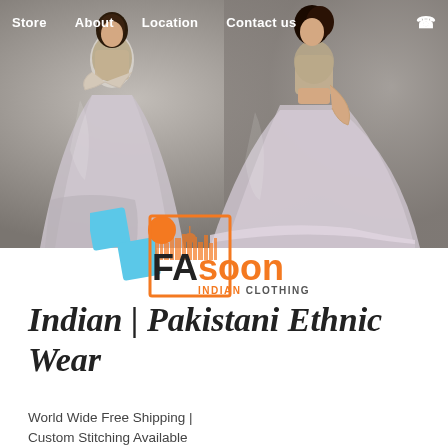Store   About   Location   Contact us   ☎
[Figure (photo): Two women wearing grey/silver Indian ethnic lehenga outfits posing against a grey textured background]
[Figure (logo): FAsoon Indian Clothing logo with blue diamond shapes, orange circle, orange square border, and cityscape silhouette]
Indian | Pakistani Ethnic Wear
World Wide Free Shipping | Custom Stitching Available